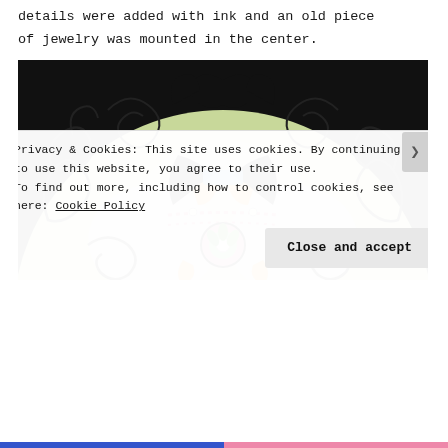details were added with ink and an old piece of jewelry was mounted in the center.
[Figure (illustration): A colorful circular mandala artwork on a black background, featuring intricate ink designs with swirling patterns, stylized leaves, geometric shapes in orange, blue, pink, and green colors, with a decorative jewelry piece mounted at the center.]
Privacy & Cookies: This site uses cookies. By continuing to use this website, you agree to their use.
To find out more, including how to control cookies, see here: Cookie Policy
Close and accept